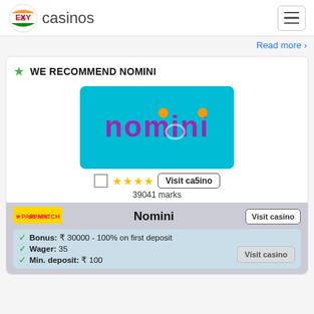easycasinos
Read more
WE RECOMMEND NOMINI
[Figure (logo): Nomini casino logo on cyan/teal background with purple text 'nomini' and orange dots]
39041 marks
Nomini
Bonus: ₹ 30000 - 100% on first deposit
Wager: 35
Min. deposit: ₹ 100